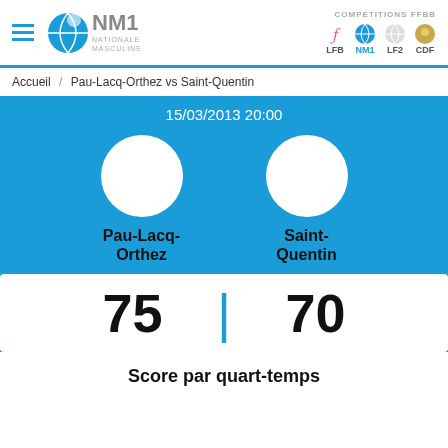NM1 - Nationale Masculine 1 | COMPÉTITIONS FFBB: LFB, NM1, LF2, CDF
Accueil / Pau-Lacq-Orthez vs Saint-Quentin
15/03/2013 20:00
Pau-Lacq-Orthez
Saint-Quentin
75 | 70
Score par quart-temps